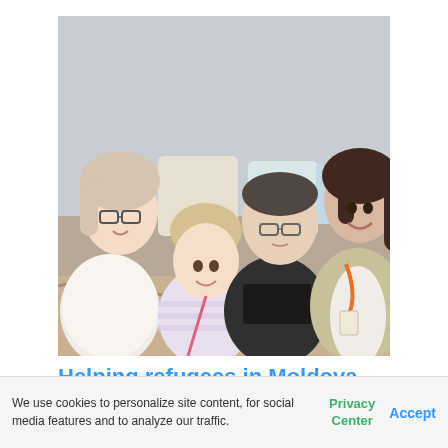[Figure (photo): Four people sitting together on a couch or bed: a woman with glasses on the far left, a young girl in a striped unicorn shirt in the center-left, a man in a black t-shirt in the center-right, and a smiling woman in a blazer with an orange lanyard on the far right. There are decorative pillows in the background.]
Helping refugees in Moldova
June 24, 2022 • Moldova Refu…
We use cookies to personalize site content, for social media features and to analyze our traffic.
Privacy Center
Accept